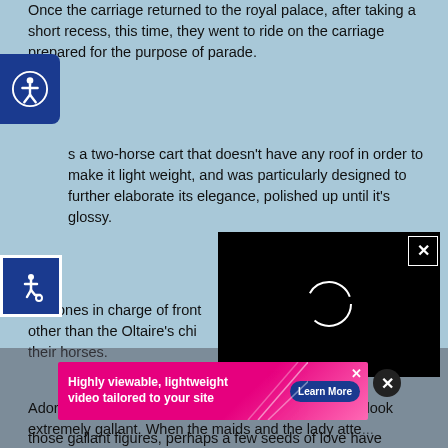Once the carriage returned to the royal palace, after taking a short recess, this time, they went to ride on the carriage prepared for the purpose of parade.
s a two-horse cart that doesn't have any roof in order to make it light weight, and was particularly designed to further elaborate its elegance, polished up until it's glossy.
[Figure (screenshot): Accessibility button with person icon in blue square with rounded right corners]
[Figure (screenshot): Accessibility button with wheelchair icon in blue square with white border]
[Figure (screenshot): Video player overlay showing black screen with loading spinner circle and X close button]
The ones in charge of front... other than the Oltaire's chi... their horses.
Adorned in the tight-designed military uniforms, they look extremely gallant. When the maids and the lady atte... atte... d at those gallant figures, perhaps a few seeds of love have
[Figure (screenshot): Advertisement banner: 'Highly viewable, lightweight video tailored to your site' with Learn More button on pink/magenta background]